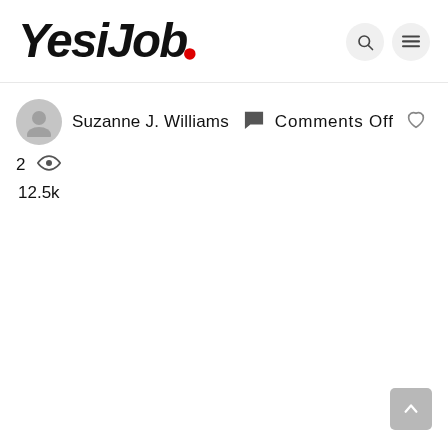[Figure (logo): YesiJob logo in bold italic black text with a red dot period]
Suzanne J. Williams   Comments Off   ♥ 2   👁 12.5k